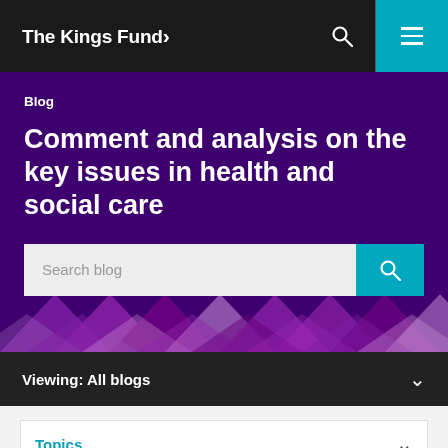The King's Fund>
Blog
Comment and analysis on the key issues in health and social care
Search blog
Viewing: All blogs
Topics
We use cookies to provide social media features and to analyse our traffic. We also share information about your use